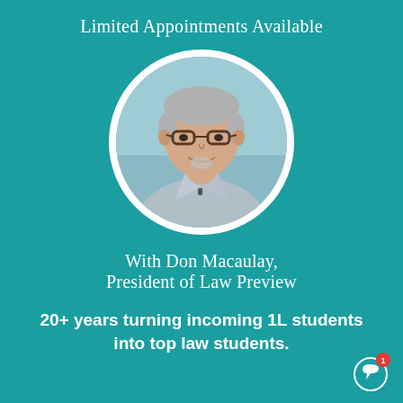Limited Appointments Available
[Figure (photo): Circular portrait photo of Don Macaulay, a middle-aged man with gray hair and glasses, wearing a blue/gray checked shirt, smiling, with a white circular border]
With Don Macaulay,
President of Law Preview
20+ years turning incoming 1L students into top law students.
[Figure (illustration): Chat bubble icon with a red notification badge showing the number 1]